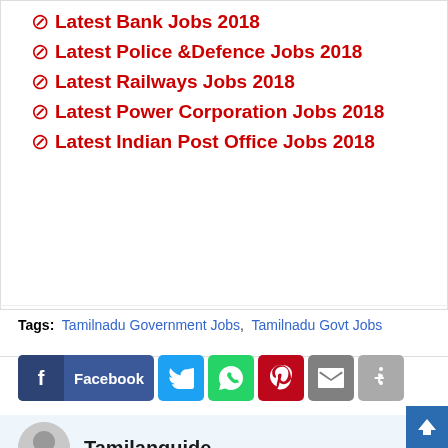∅ Latest Bank Jobs 2018
∅ Latest Police &Defence Jobs 2018
∅ Latest Railways Jobs 2018
∅ Latest Power Corporation Jobs 2018
∅ Latest Indian Post Office Jobs 2018
Tags: Tamilnadu Government Jobs, Tamilnadu Govt Jobs
[Figure (other): Social sharing buttons: Facebook, Twitter, WhatsApp, Pinterest, Email, More]
Tamilanguide